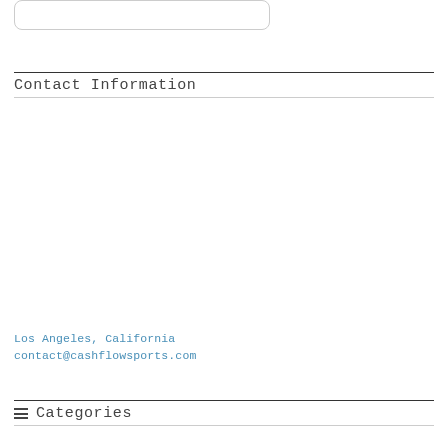[Figure (other): Rounded rectangle input box or search bar, outlined with light gray border]
Contact Information
Los Angeles, California
contact@cashflowsports.com
≡ Categories